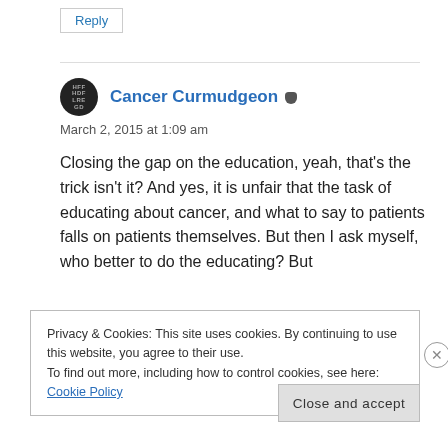Reply
Cancer Curmudgeon
March 2, 2015 at 1:09 am
Closing the gap on the education, yeah, that’s the trick isn’t it? And yes, it is unfair that the task of educating about cancer, and what to say to patients falls on patients themselves. But then I ask myself, who better to do the educating? But
Privacy & Cookies: This site uses cookies. By continuing to use this website, you agree to their use.
To find out more, including how to control cookies, see here: Cookie Policy
Close and accept